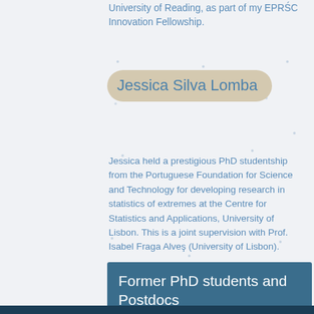University of Reading, as part of my EPSRC Innovation Fellowship.
Jessica Silva Lomba
Jessica held a prestigious PhD studentship from the Portuguese Foundation for Science and Technology for developing research in statistics of extremes at the Centre for Statistics and Applications, University of Lisbon. This is a joint supervision with Prof. Isabel Fraga Alves (University of Lisbon).
Former PhD students and Postdocs